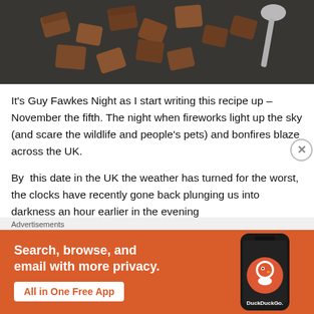[Figure (photo): Top portion of a food photo showing chocolate pieces/caramels on a dark surface with a spoon visible]
It's Guy Fawkes Night as I start writing this recipe up – November the fifth. The night when fireworks light up the sky (and scare the wildlife and people's pets) and bonfires blaze across the UK.
By  this date in the UK the weather has turned for the worst, the clocks have recently gone back plunging us into darkness an hour earlier in the evening
Advertisements
[Figure (screenshot): DuckDuckGo advertisement banner with orange background. Text: Search, browse, and email with more privacy. All in One Free App. Shows a DuckDuckGo app icon on a phone.]